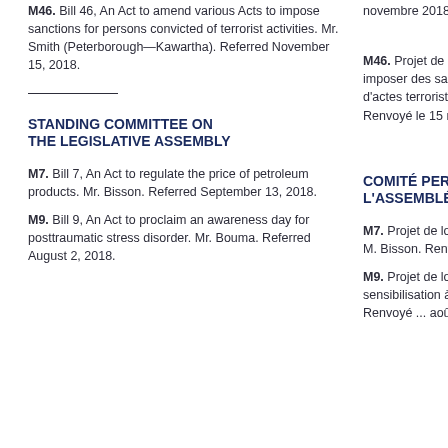novembre 2018.
M46. Bill 46, An Act to amend various Acts to impose sanctions for persons convicted of terrorist activities. Mr. Smith (Peterborough—Kawartha). Referred November 15, 2018.
M46. Projet de loi 46, Loi modifiant diverses lois pour imposer des sanctions aux personnes déclarées coupables d'actes terroristes. M. Smith (Peterborough—Kawartha). Renvoyé le 15 novembre...
STANDING COMMITTEE ON THE LEGISLATIVE ASSEMBLY
COMITÉ PERMANENT DE L'ASSEMBLÉE LÉGISL...
M7. Bill 7, An Act to regulate the price of petroleum products. Mr. Bisson. Referred September 13, 2018.
M7. Projet de loi 7, Loi réglementant des produits pétroliers. M. Bisson. Renvoyé le 13 septembre 2018.
M9. Bill 9, An Act to proclaim an awareness day for posttraumatic stress disorder. Mr. Bouma. Referred August 2, 2018.
M9. Projet de loi 9, Loi proclamant une journée de sensibilisation à l'état post-traumatique. M. Bouma. Renvoyé le ... août 2018.